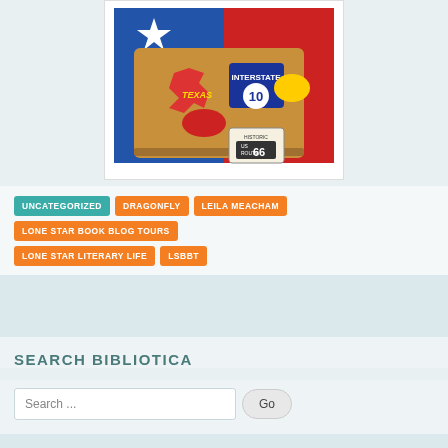[Figure (illustration): Book cover illustration showing a travel-themed suitcase/book with Texas sticker, Route 66 sign, Interstate 10 sign, red and yellow oval stickers, on a background of blue and red colors]
UNCATEGORIZED
DRAGONFLY
LEILA MEACHAM
LONE STAR BOOK BLOG TOURS
LONE STAR LITERARY LIFE
LSBBT
SEARCH BIBLIOTICA
Search ...